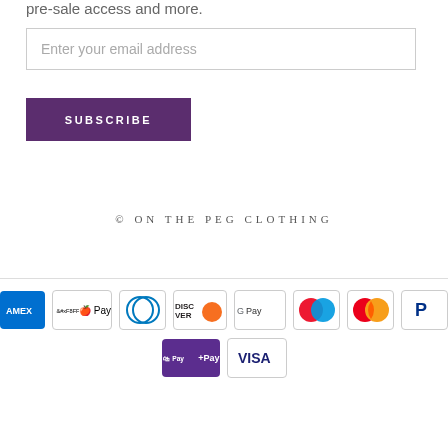pre-sale access and more.
Enter your email address
SUBSCRIBE
© ON THE PEG CLOTHING
[Figure (other): Payment method icons: American Express, Apple Pay, Diners Club, Discover, Google Pay, Mastercard (red/blue), Mastercard, PayPal, Shop Pay, Visa]